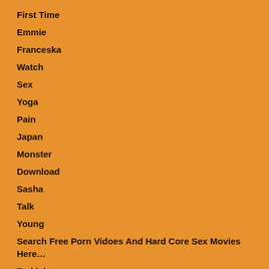First Time
Emmie
Franceska
Watch
Sex
Yoga
Pain
Japan
Monster
Download
Sasha
Talk
Young
Search Free Porn Vidoes And Hard Core Sex Movies Here…
Turkish